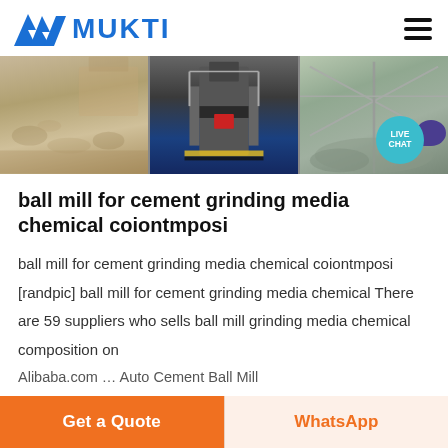MUKTI
[Figure (photo): Banner with three industrial photos: gravel/quarry site on left, industrial mill/crusher machinery in center, stone aggregate/gravel yard on right. Live Chat bubble overlay on right.]
ball mill for cement grinding media chemical coiontmposi
ball mill for cement grinding media chemical coiontmposi [randpic] ball mill for cement grinding media chemical There are 59 suppliers who sells ball mill grinding media chemical composition on Alibaba.com … Auto Cement Ball Mill